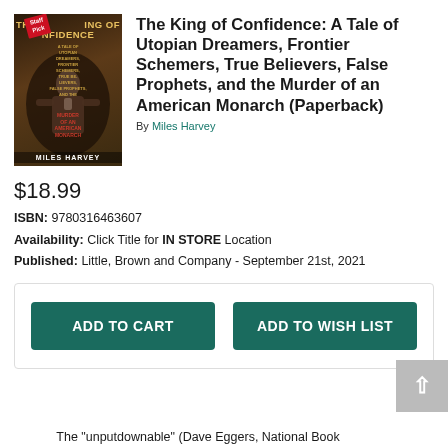[Figure (illustration): Book cover of 'The King of Confidence' by Miles Harvey with a Staff Pick ribbon, showing a dark illustrated figure and gold/red text on a dark background.]
The King of Confidence: A Tale of Utopian Dreamers, Frontier Schemers, True Believers, False Prophets, and the Murder of an American Monarch (Paperback)
By Miles Harvey
$18.99
ISBN: 9780316463607
Availability: Click Title for IN STORE Location
Published: Little, Brown and Company - September 21st, 2021
ADD TO CART
ADD TO WISH LIST
The "unputdownable" (Dave Eggers, National Book